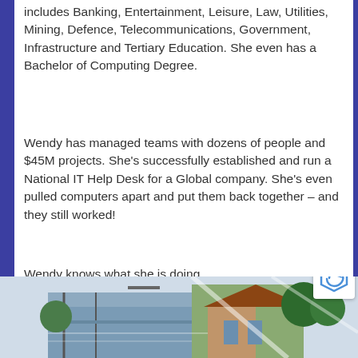includes Banking, Entertainment, Leisure, Law, Utilities, Mining, Defence, Telecommunications, Government, Infrastructure and Tertiary Education. She even has a Bachelor of Computing Degree.
Wendy has managed teams with dozens of people and $45M projects. She's successfully established and run a National IT Help Desk for a Global company. She's even pulled computers apart and put them back together – and they still worked!
Wendy knows what she is doing.
[Figure (photo): A photo strip at the bottom of the page showing outdoor scenes including what appears to be a bridge/waterway and a house with trees.]